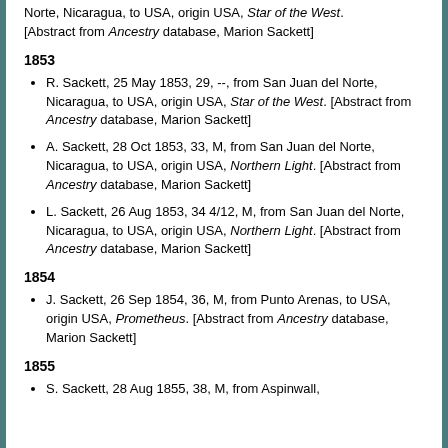Norte, Nicaragua, to USA, origin USA, Star of the West. [Abstract from Ancestry database, Marion Sackett]
1853
R. Sackett, 25 May 1853, 29, --, from San Juan del Norte, Nicaragua, to USA, origin USA, Star of the West. [Abstract from Ancestry database, Marion Sackett]
A. Sackett, 28 Oct 1853, 33, M, from San Juan del Norte, Nicaragua, to USA, origin USA, Northern Light. [Abstract from Ancestry database, Marion Sackett]
L. Sackett, 26 Aug 1853, 34 4/12, M, from San Juan del Norte, Nicaragua, to USA, origin USA, Northern Light. [Abstract from Ancestry database, Marion Sackett]
1854
J. Sackett, 26 Sep 1854, 36, M, from Punto Arenas, to USA, origin USA, Prometheus. [Abstract from Ancestry database, Marion Sackett]
1855
S. Sackett, 28 Aug 1855, 38, M, from Aspinwall...